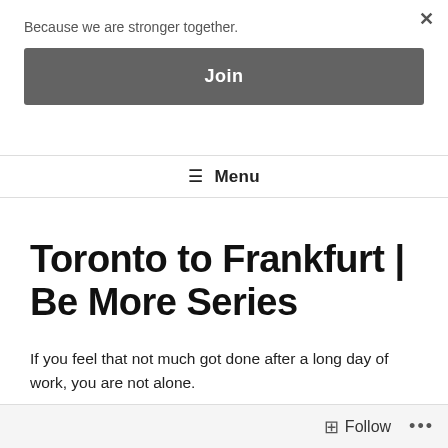Because we are stronger together.
Join
✕
☰ Menu
Toronto to Frankfurt | Be More Series
If you feel that not much got done after a long day of work, you are not alone.
Follow  •••